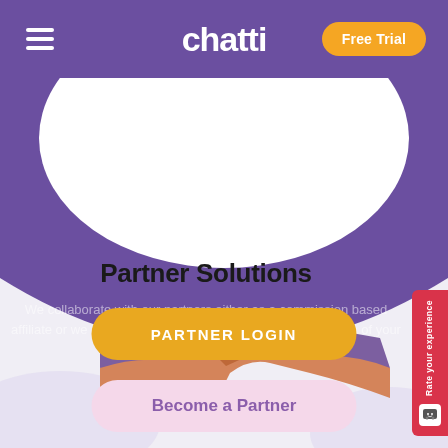chatti — Free Trial
[Figure (illustration): Purple arc/funnel shape background with handshake illustration in the center]
Partner Solutions
We collaborate with our partners either as a commission based affiliate or we can focus on being a 'white labelled' extension of your business
[Figure (other): PARTNER LOGIN button (golden/amber pill-shaped button)]
[Figure (other): Become a Partner button (pink/lavender pill-shaped button)]